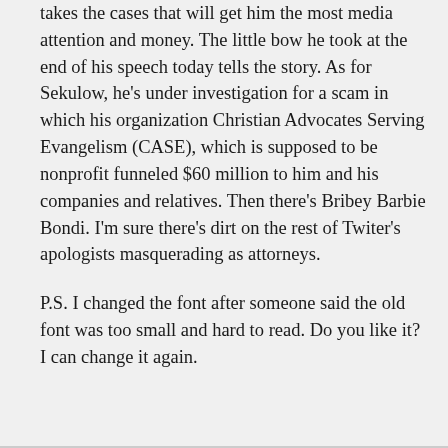takes the cases that will get him the most media attention and money. The little bow he took at the end of his speech today tells the story. As for Sekulow, he's under investigation for a scam in which his organization Christian Advocates Serving Evangelism (CASE), which is supposed to be nonprofit funneled $60 million to him and his companies and relatives. Then there's Bribey Barbie Bondi. I'm sure there's dirt on the rest of Twiter's apologists masquerading as attorneys.
P.S. I changed the font after someone said the old font was too small and hard to read. Do you like it? I can change it again.